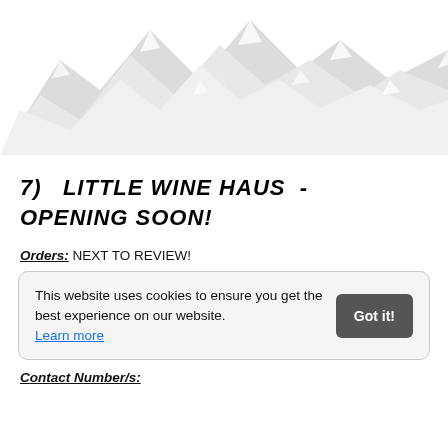[Figure (illustration): Snow-capped mountain range silhouette background image in light gray tones]
7)  LITTLE WINE HAUS - OPENING SOON!
Orders: NEXT TO REVIEW!
This website uses cookies to ensure you get the best experience on our website. Learn more
Contact Number/s: